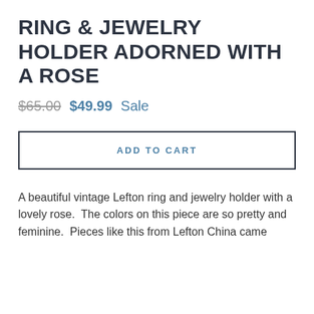RING & JEWELRY HOLDER ADORNED WITH A ROSE
$65.00  $49.99 Sale
ADD TO CART
A beautiful vintage Lefton ring and jewelry holder with a lovely rose.  The colors on this piece are so pretty and feminine.  Pieces like this from Lefton China came